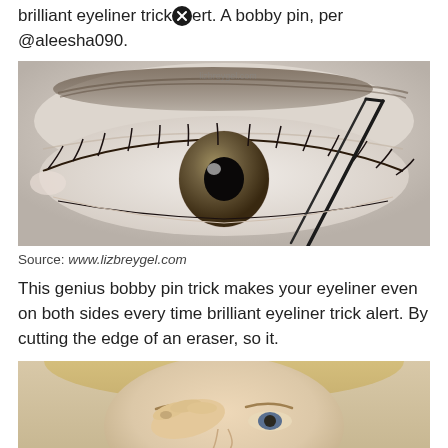brilliant eyeliner trick [x] ert. A bobby pin, per @aleesha090.
[Figure (photo): Close-up photo of an eye with a bobby pin being used as an eyeliner tool, applying liner along the upper lash line. The eye has a light iris and is surrounded by pale skin. A bobby pin is held diagonally across the upper eyelid. Watermark: lizbreygel.com]
Source: www.lizbreygel.com
This genius bobby pin trick makes your eyeliner even on both sides every time brilliant eyeliner trick alert. By cutting the edge of an eraser, so it.
[Figure (photo): Photo of a blonde woman using her fingers to apply eyeliner or pull at her upper eyelid. She is looking slightly downward. A close button (X circle) icon is overlaid at the bottom center of the image.]